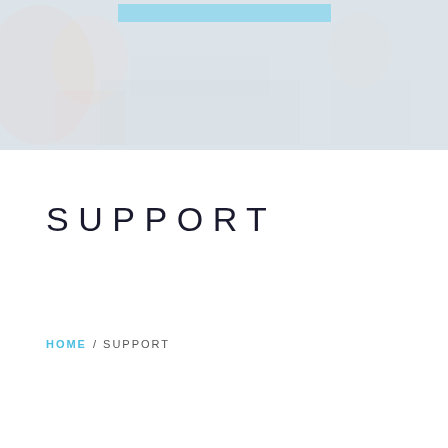[Figure (photo): Faded/washed-out background photo of a salon or barber scene with a person in a chair and another person working. A light blue horizontal bar overlay is visible near the top of the image.]
SUPPORT
HOME /  SUPPORT